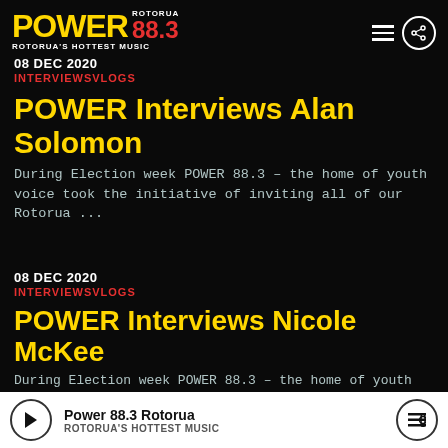POWER ROTORUA 88.3 — ROTORUA'S HOTTEST MUSIC
08 DEC 2020
INTERVIEWSVLOGS
POWER Interviews Alan Solomon
During Election week POWER 88.3 – the home of youth voice took the initiative of inviting all of our Rotorua ...
08 DEC 2020
INTERVIEWSVLOGS
POWER Interviews Nicole McKee
During Election week POWER 88.3 – the home of youth voice to...
Power 88.3 Rotorua — ROTORUA'S HOTTEST MUSIC